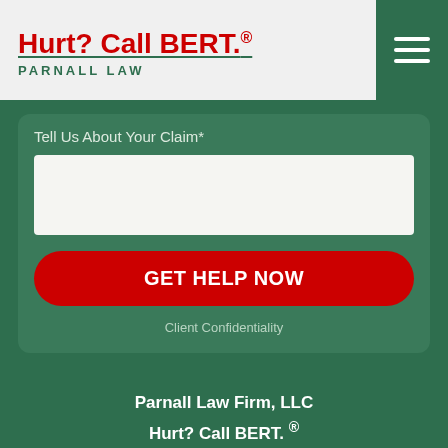Hurt? Call BERT.® PARNALL LAW
Tell Us About Your Claim*
[Figure (other): White text area input box for claim description]
GET HELP NOW
Client Confidentiality
Parnall Law Firm, LLC
Hurt? Call BERT. ®
2025 San Pedro Dr. NE